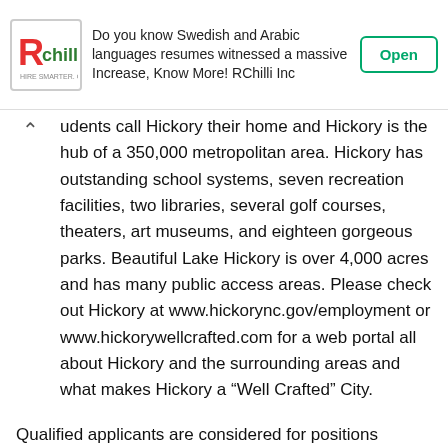[Figure (logo): RChilli advertisement banner with logo, text about Recruitment Trends Report, and Open button]
udents call Hickory their home and Hickory is the hub of a 350,000 metropolitan area. Hickory has outstanding school systems, seven recreation facilities, two libraries, several golf courses, theaters, art museums, and eighteen gorgeous parks. Beautiful Lake Hickory is over 4,000 acres and has many public access areas. Please check out Hickory at www.hickorync.gov/employment or www.hickorywellcrafted.com for a web portal all about Hickory and the surrounding areas and what makes Hickory a “Well Crafted” City.
Qualified applicants are considered for positions without regard to race, color, religion, sex, national origin, age, marital status, genetics, or the presence of a non-job related medical condition or disability. U.S. Law requires all applicants to furnish proof of identity and right to work in the U.S.